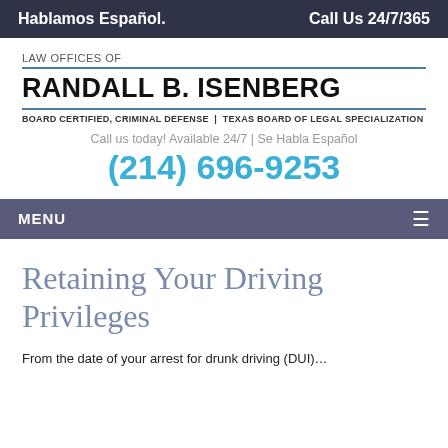Hablamos Español.    Call Us 24/7/365
[Figure (logo): Law Offices of Randall B. Isenberg — Board Certified, Criminal Defense | Texas Board of Legal Specialization logo with blue double-rule borders]
Call us today! Available 24/7 | Se Habla Español
(214) 696-9253
MENU
Retaining Your Driving Privileges
From the date of your arrest for drunk driving (DUI)…